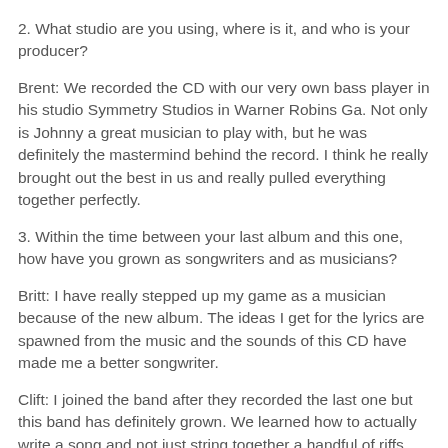2. What studio are you using, where is it, and who is your producer?
Brent: We recorded the CD with our very own bass player in his studio Symmetry Studios in Warner Robins Ga. Not only is Johnny a great musician to play with, but he was definitely the mastermind behind the record. I think he really brought out the best in us and really pulled everything together perfectly.
3. Within the time between your last album and this one, how have you grown as songwriters and as musicians?
Britt: I have really stepped up my game as a musician because of the new album. The ideas I get for the lyrics are spawned from the music and the sounds of this CD have made me a better songwriter.
Clift: I joined the band after they recorded the last one but this band has definitely grown. We learned how to actually write a song and not just string together a handful of riffs. We